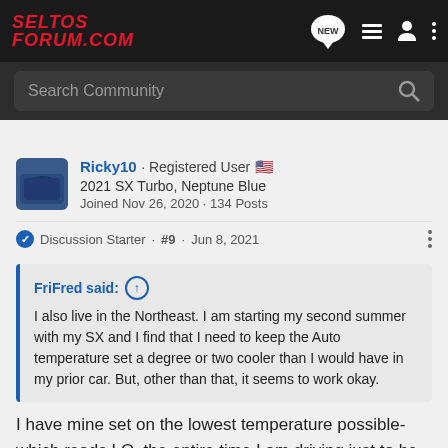SELTOS FORUM.COM
Search Community
Ricky10 · Registered User 🇺🇸
2021 SX Turbo, Neptune Blue
Joined Nov 26, 2020 · 134 Posts
Discussion Starter · #9 · Jun 8, 2021
FriFred said: ↑
I also live in the Northeast. I am starting my second summer with my SX and I find that I need to keep the Auto temperature set a degree or two cooler than I would have in my prior car. But, other than that, it seems to work okay.
I have mine set on the lowest temperature possible- which reads LO, the entire time I am driving just to be comfortable